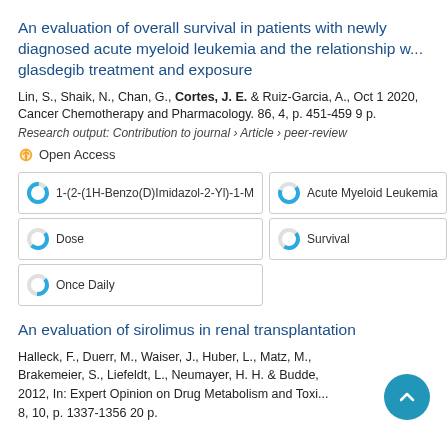An evaluation of overall survival in patients with newly diagnosed acute myeloid leukemia and the relationship with glasdegib treatment and exposure
Lin, S., Shaik, N., Chan, G., Cortes, J. E. & Ruiz-Garcia, A., Oct 1 2020, Cancer Chemotherapy and Pharmacology. 86, 4, p. 451-459 9 p.
Research output: Contribution to journal › Article › peer-review
Open Access
1-(2-(1H-Benzo(D)Imidazol-2-Yl)-1-M
Acute Myeloid Leukemia
Dose
Survival
Once Daily
An evaluation of sirolimus in renal transplantation
Halleck, F., Duerr, M., Waiser, J., Huber, L., Matz, M., Brakemeier, S., Liefeldt, L., Neumayer, H. H. & Budde, 2012, In: Expert Opinion on Drug Metabolism and Toxi... 8, 10, p. 1337-1356 20 p.